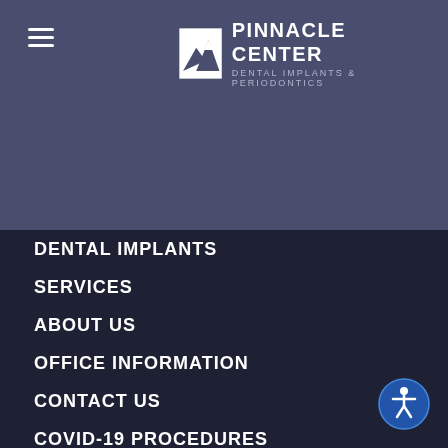[Figure (logo): Pinnacle Center Dental Implants & Periodontics logo with mountain icon]
DENTAL IMPLANTS
SERVICES
ABOUT US
OFFICE INFORMATION
CONTACT US
COVID-19 PROCEDURES
[Figure (illustration): Accessibility icon button — circular blue button with wheelchair/person icon]